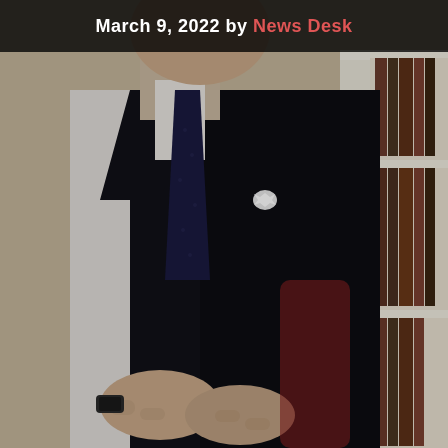[Figure (photo): A person in a dark suit and white shirt with a dark navy tie, wearing a small white pin on the lapel, seated in a chair. A bookshelf is visible in the background on the right side.]
March 9, 2022 by News Desk